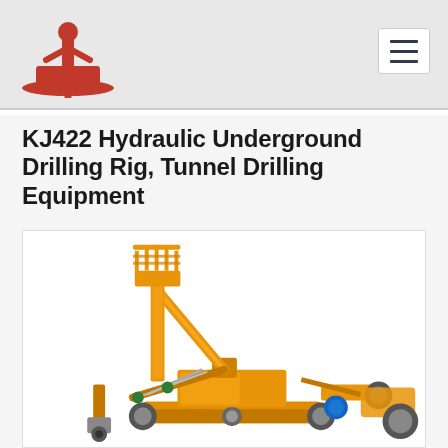[Figure (logo): Red drilling rig company logo — stylized figure of a person seated at a drilling machine, red color on light grey background]
KJ422 Hydraulic Underground Drilling Rig, Tunnel Drilling Equipment
[Figure (photo): 3D rendering of the KJ422 hydraulic underground drilling rig / tunnel drilling equipment — yellow machine with articulated boom arm, basket platform at top, mounted on tracked/wheeled base, white background]